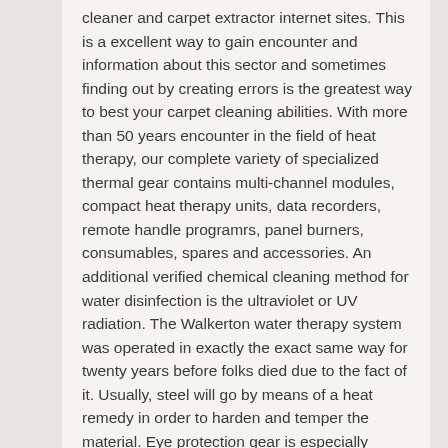cleaner and carpet extractor internet sites. This is a excellent way to gain encounter and information about this sector and sometimes finding out by creating errors is the greatest way to best your carpet cleaning abilities. With more than 50 years encounter in the field of heat therapy, our complete variety of specialized thermal gear contains multi-channel modules, compact heat therapy units, data recorders, remote handle programrs, panel burners, consumables, spares and accessories. An additional verified chemical cleaning method for water disinfection is the ultraviolet or UV radiation. The Walkerton water therapy system was operated in exactly the exact same way for twenty years before folks died due to the fact of it. Usually, steel will go by means of a heat remedy in order to harden and temper the material. Eye protection gear is especially developed to shield the human eyes from dangerous particles, hazardous chemical compounds, infectious fluids, intense light and heat. These small centers have water consumption similar to a single family members residence, and it's at these small centers that I have researched remedy, installed remedy including U.V. disinfection devices, and maintain and repair mentioned equipment. Alloy type of steel offers a wide variety of heat therapy properties and high strength. Bonding of the powder to the metal involves